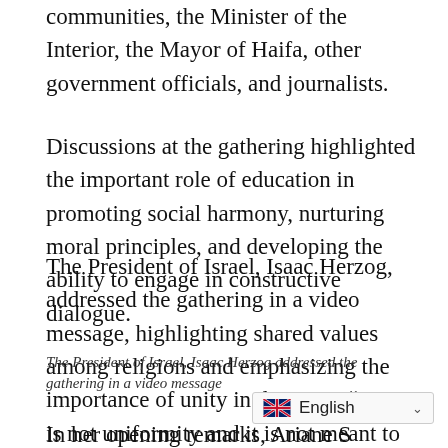communities, the Minister of the Interior, the Mayor of Haifa, other government officials, and journalists.
Discussions at the gathering highlighted the important role of education in promoting social harmony, nurturing moral principles, and developing the ability to engage in constructive dialogue.
The President of Israel, Isaac Herzog, addressed the gathering in a video message, highlighting shared values among religions and emphasizing the importance of unity in diversity. “Unity is not uniformity and it is not meant to blur the differences between us, on the contrary, differences of tradition and culture are what make us so special.
The President of Israel, Isaac Herzog addressed the gathering in a video message
In her opening remarks, Ariane S...